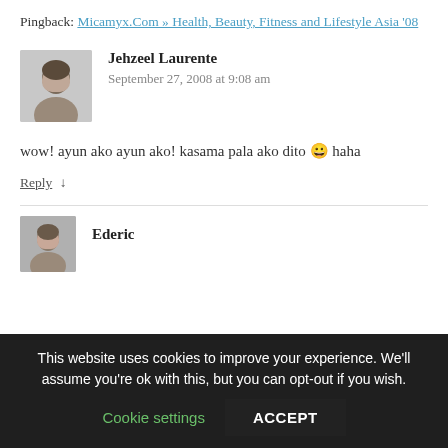Pingback: Micamyx.Com » Health, Beauty, Fitness and Lifestyle Asia '08
Jehzeel Laurente
September 27, 2008 at 9:08 am
[Figure (photo): User avatar photo of Jehzeel Laurente]
wow! ayun ako ayun ako! kasama pala ako dito 😀 haha
Reply ↓
[Figure (photo): User avatar photo of next commenter (Ederic)]
Ederic
This website uses cookies to improve your experience. We'll assume you're ok with this, but you can opt-out if you wish.
Cookie settings
ACCEPT